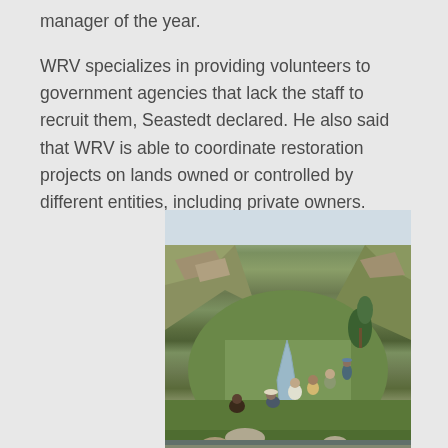manager of the year.

WRV specializes in providing volunteers to government agencies that lack the staff to recruit them, Seastedt declared. He also said that WRV is able to coordinate restoration projects on lands owned or controlled by different entities, including private owners.
[Figure (photo): Group of volunteers working along a stream in a mountain valley with green hillsides, doing restoration work. Several people are crouched near the water among rocks and vegetation.]